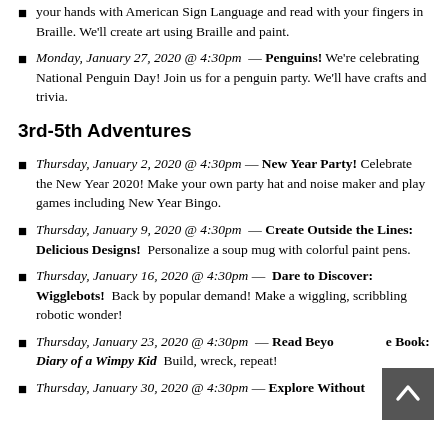your hands with American Sign Language and read with your fingers in Braille. We'll create art using Braille and paint.
Monday, January 27, 2020 @ 4:30pm — Penguins! We're celebrating National Penguin Day! Join us for a penguin party. We'll have crafts and trivia.
3rd-5th Adventures
Thursday, January 2, 2020 @ 4:30pm — New Year Party! Celebrate the New Year 2020! Make your own party hat and noise maker and play games including New Year Bingo.
Thursday, January 9, 2020 @ 4:30pm — Create Outside the Lines: Delicious Designs! Personalize a soup mug with colorful paint pens.
Thursday, January 16, 2020 @ 4:30pm — Dare to Discover: Wigglebots! Back by popular demand! Make a wiggling, scribbling robotic wonder!
Thursday, January 23, 2020 @ 4:30pm — Read Beyond the Book: Diary of a Wimpy Kid Build, wreck, repeat!
Thursday, January 30, 2020 @ 4:30pm — Explore Without